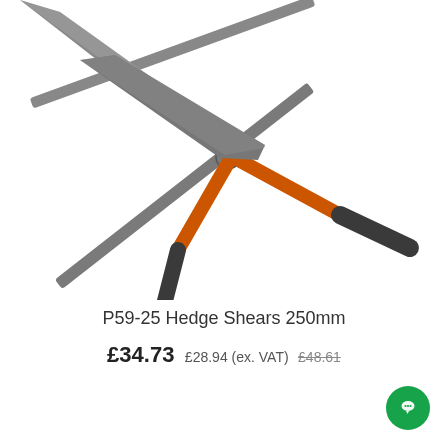[Figure (photo): P59-25 Hedge Shears with long grey metal blades, orange metal handles with dark grey rubber grips at the ends]
P59-25 Hedge Shears 250mm
£34.73 £28.94 (ex. VAT) £48.61